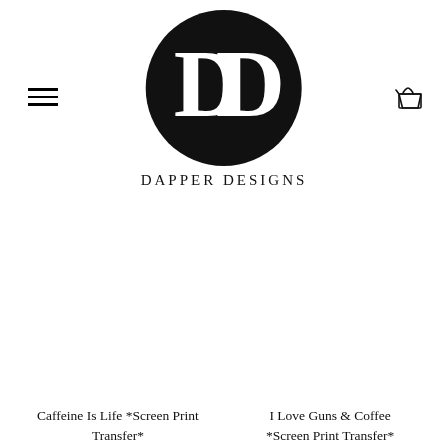[Figure (logo): Dapper Designs logo: black circle with white interlocking 'DD' monogram letters inside, and 'DAPPER DESIGNS' text below in spaced serif capitals]
Caffeine Is Life *Screen Print Transfer*
I Love Guns & Coffee *Screen Print Transfer*